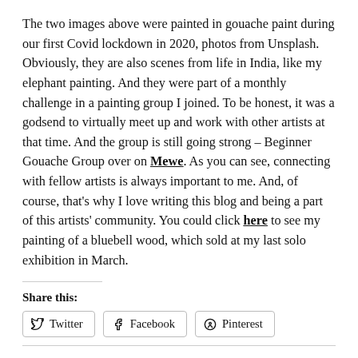The two images above were painted in gouache paint during our first Covid lockdown in 2020, photos from Unsplash. Obviously, they are also scenes from life in India, like my elephant painting. And they were part of a monthly challenge in a painting group I joined. To be honest, it was a godsend to virtually meet up and work with other artists at that time. And the group is still going strong – Beginner Gouache Group over on Mewe. As you can see, connecting with fellow artists is always important to me. And, of course, that's why I love writing this blog and being a part of this artists' community. You could click here to see my painting of a bluebell wood, which sold at my last solo exhibition in March.
Share this:
Twitter
Facebook
Pinterest